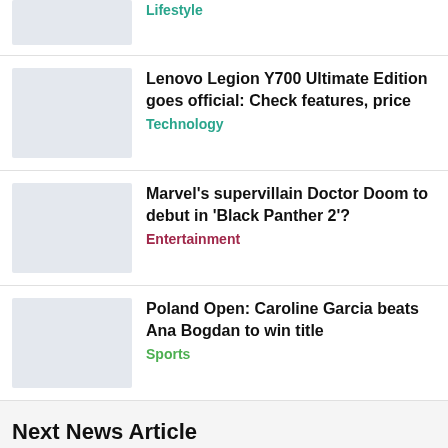Lifestyle
Lenovo Legion Y700 Ultimate Edition goes official: Check features, price
Technology
Marvel's supervillain Doctor Doom to debut in 'Black Panther 2'?
Entertainment
Poland Open: Caroline Garcia beats Ana Bogdan to win title
Sports
Next News Article